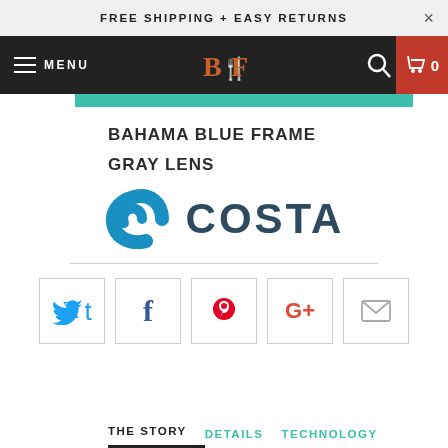FREE SHIPPING + EASY RETURNS
[Figure (screenshot): Navigation bar with hamburger menu, MENU label, B&F logo, search icon, and cart icon showing 0]
[Figure (logo): Costa Del Mar logo with blue wave icon and COSTA text in dark blue]
BAHAMA BLUE FRAME
GRAY LENS
[Figure (infographic): Social sharing buttons: Twitter, Facebook, Pinterest, Google+, Email]
THE STORY   DETAILS   TECHNOLOGY